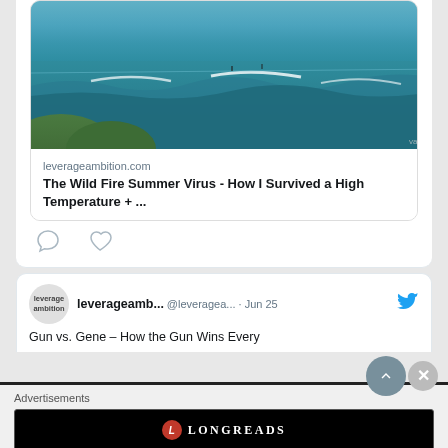[Figure (screenshot): Tweet card showing a link preview with ocean/surf photo. Link domain: leverageambition.com. Link title: The Wild Fire Summer Virus - How I Survived a High Temperature + ...]
leverageambition.com
The Wild Fire Summer Virus - How I Survived a High Temperature + ...
[Figure (screenshot): Tweet from leverageamb... @leveragea... · Jun 25 with Twitter bird icon. Preview text: Gun vs. Gene – How the Gun Wins Every]
leverageamb... @leveragea... · Jun 25
Gun vs. Gene – How the Gun Wins Every
Advertisements
[Figure (logo): Longreads advertisement banner on black background. Logo: red circle with L, LONGREADS text. Tagline: Read anything great lately?]